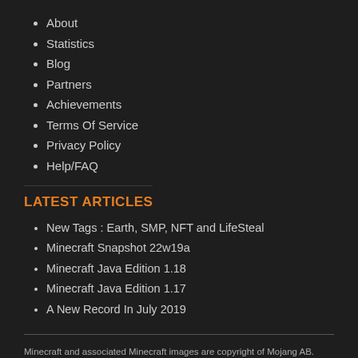About
Statistics
Blog
Partners
Achievements
Terms Of Service
Privacy Policy
Help/FAQ
LATEST ARTICLES
New Tags : Earth, SMP, NFT and LifeSteal
Minecraft Snapshot 22w19a
Minecraft Java Edition 1.18
Minecraft Java Edition 1.17
A New Record In July 2019
Minecraft and associated Minecraft images are copyright of Mojang AB. Minecraft-mp.com is not affiliated with Minecraft and Mojang AB.